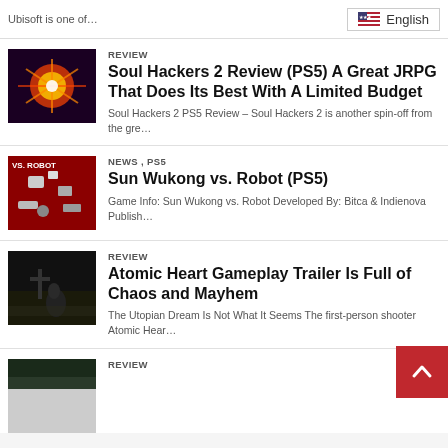Ubisoft is one of...
English
REVIEW
Soul Hackers 2 Review (PS5) A Great JRPG That Does Its Best With A Limited Budget
Soul Hackers 2 PS5 Review – Soul Hackers 2 is another spin-off from the gre...
News , PS5
Sun Wukong vs. Robot (PS5)
Game Info: Sun Wukong vs. Robot Developed By: Bitca & Indienova Publish...
REVIEW
Atomic Heart Gameplay Trailer Is Full of Chaos and Mayhem
The Utopian Dream Is Not What It Seems The first-person shooter Atomic Hear...
REVIEW